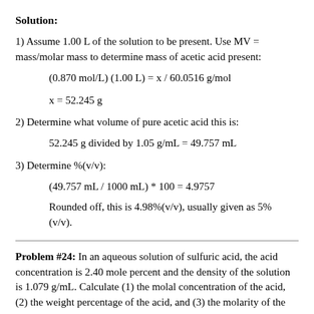Solution:
1) Assume 1.00 L of the solution to be present. Use MV = mass/molar mass to determine mass of acetic acid present:
2) Determine what volume of pure acetic acid this is:
3) Determine %(v/v):
Rounded off, this is 4.98%(v/v), usually given as 5% (v/v).
Problem #24: In an aqueous solution of sulfuric acid, the acid concentration is 2.40 mole percent and the density of the solution is 1.079 g/mL. Calculate (1) the molal concentration of the acid, (2) the weight percentage of the acid, and (3) the molarity of the